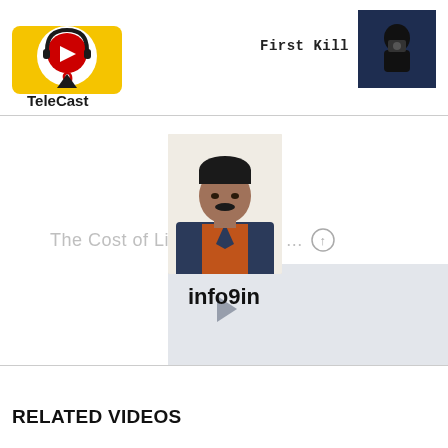[Figure (logo): TeleCast logo — circular icon with headphones and play button, yellow background, number 9, text TeleCast below]
First Kill Trailer
[Figure (photo): Small thumbnail photo of a person in dark hoodie holding a camera, dark blue background]
[Figure (photo): Photo of a middle-aged man with mustache wearing a dark blazer over an orange shirt, white background]
The Cost of Living In South ...
info9in
RELATED VIDEOS